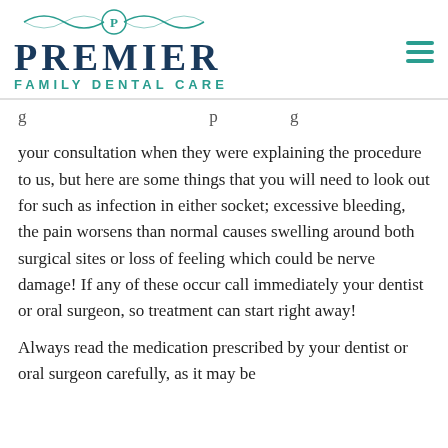[Figure (logo): Premier Family Dental Care logo with ornamental design at top, teal and navy color scheme]
your consultation when they were explaining the procedure to us, but here are some things that you will need to look out for such as infection in either socket; excessive bleeding, the pain worsens than normal causes swelling around both surgical sites or loss of feeling which could be nerve damage! If any of these occur call immediately your dentist or oral surgeon, so treatment can start right away!
Always read the medication prescribed by your dentist or oral surgeon carefully, as it may be